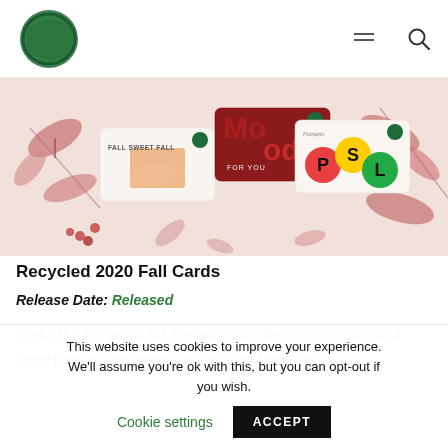[Figure (logo): Starbucks-style green circle logo]
[Figure (photo): Banner showing Starbucks fall 2020 gift cards with autumn leaves background — cards include 'Fall Sweet Fall', 'Mood', 'For You', and PSL-themed cards]
Recycled 2020 Fall Cards
Release Date: Released
Looks like this year's fall themed card collection is coming and some people have already gotten their hands on it.
This website uses cookies to improve your experience. We'll assume you're ok with this, but you can opt-out if you wish. Cookie settings ACCEPT